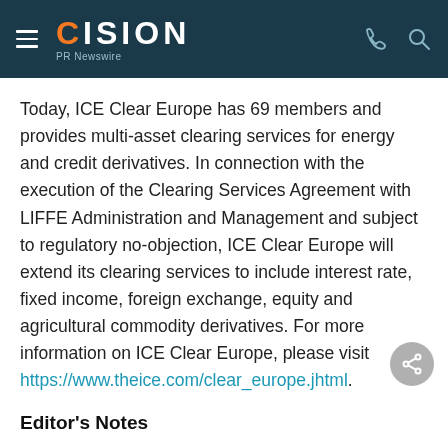CISION PR Newswire
Today, ICE Clear Europe has 69 members and provides multi-asset clearing services for energy and credit derivatives. In connection with the execution of the Clearing Services Agreement with LIFFE Administration and Management and subject to regulatory no-objection, ICE Clear Europe will extend its clearing services to include interest rate, fixed income, foreign exchange, equity and agricultural commodity derivatives. For more information on ICE Clear Europe, please visit https://www.theice.com/clear_europe.jhtml.
Editor's Notes